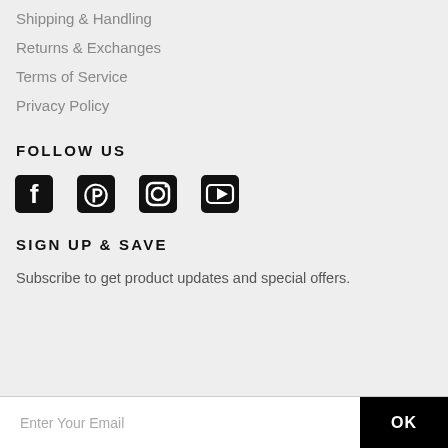Shipping & Handling
Returns & Exchanges
Terms of Service
Privacy Policy
FOLLOW US
[Figure (other): Social media icons: Facebook, Pinterest, Instagram, YouTube]
SIGN UP & SAVE
Subscribe to get product updates and special offers.
Enter Your Email